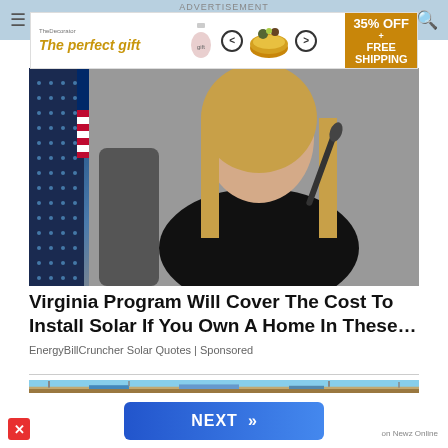ADVERTISEMENT
[Figure (illustration): Advertisement banner: 'The perfect gift' with food bowl product image, carousel navigation arrows, and '35% OFF + FREE SHIPPING' badge]
[Figure (photo): Woman in black top seated at a table with microphone, American flag and solar panels visible in background]
Virginia Program Will Cover The Cost To Install Solar If You Own A Home In These...
EnergyBillCruncher Solar Quotes | Sponsored
[Figure (photo): Desert landscape with industrial buildings and communications towers]
[Figure (illustration): NEXT >> button in blue]
on Newz Online